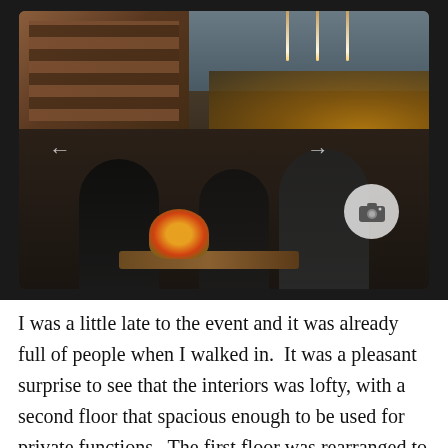[Figure (photo): Interior photo of a crowded restaurant/bar event. Wine rack visible in upper left, warm amber lighting on the right side, people gathered around a bar counter with flower arrangements. A camera watermark icon is visible in the lower right of the image. Left and right navigation arrows are overlaid on the photo.]
I was a little late to the event and it was already full of people when I walked in.  It was a pleasant surprise to see that the interiors was lofty, with a second floor that spacious enough to be used for private functions.  The first floor was rearranged to accommodate the crowd that was there for the same reasons I was there.  It definitely helped that there were floor to ceiling windows, letting the light in